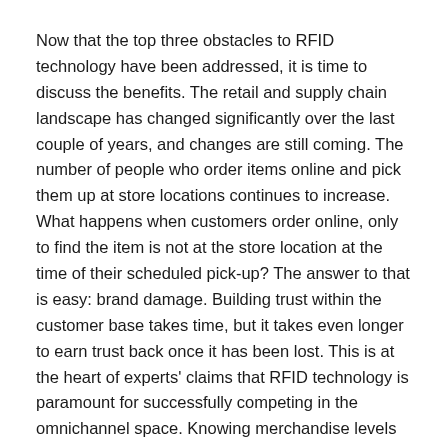Now that the top three obstacles to RFID technology have been addressed, it is time to discuss the benefits. The retail and supply chain landscape has changed significantly over the last couple of years, and changes are still coming. The number of people who order items online and pick them up at store locations continues to increase. What happens when customers order online, only to find the item is not at the store location at the time of their scheduled pick-up? The answer to that is easy: brand damage. Building trust within the customer base takes time, but it takes even longer to earn trust back once it has been lost. This is at the heart of experts' claims that RFID technology is paramount for successfully competing in the omnichannel space. Knowing merchandise levels in real time is essential in order to deliver customer satisfaction throughout the shopping experience. And when one considers that a store employee, when using RFID, can take a full and accurate store inventory within minutes, it becomes clear why RFID technology is a must-have.
About Nedap Retail
Nedap brings 40 years of global experience, market expertise and